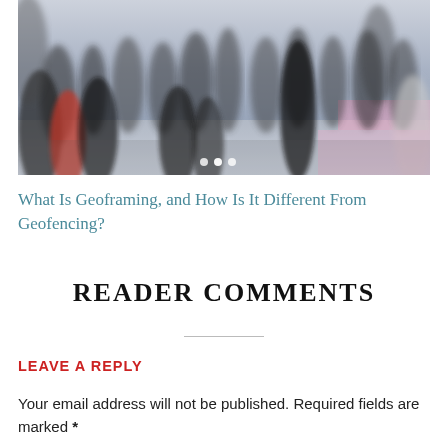[Figure (photo): A blurred crowd of people walking at what appears to be a conference or public event, photographed from above/behind. People are dressed in business and casual attire. Pink accents visible on the floor. Navigation dots visible at bottom of image.]
What Is Geoframing, and How Is It Different From Geofencing?
READER COMMENTS
LEAVE A REPLY
Your email address will not be published. Required fields are marked *